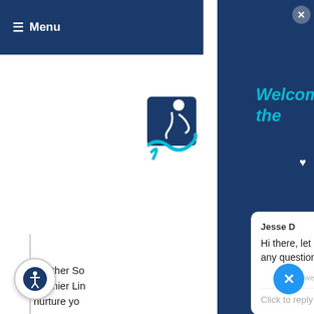≡ Menu
[Figure (logo): Blue circular logo with figure and wave shapes]
Another So Premier Lin nurture yo uncomprom ShowerSpa States. The panel and o stunning co shower. PULSE Infin
[Figure (screenshot): Chat widget overlay with dark blue background showing Welcome to the message, Jesse D chat bubble saying Hi there, let me know if you have any questions :), powered by gorgias, Click to reply, Enter your name, Enter your phone number input fields, and X close button]
Jesse D
Hi there, let me know if you have any questions :)
Powered by gorgias
Click to reply
Enter your name
Enter your phone number